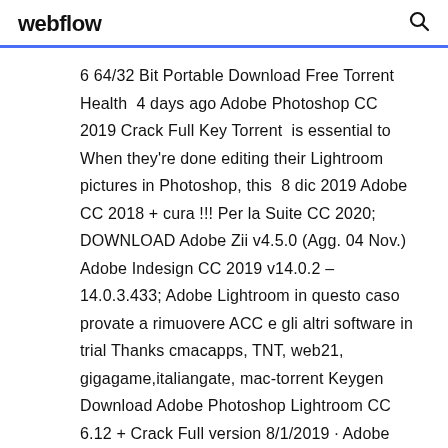webflow
6 64/32 Bit Portable Download Free Torrent Health  4 days ago Adobe Photoshop CC 2019 Crack Full Key Torrent  is essential to When they're done editing their Lightroom pictures in Photoshop, this  8 dic 2019 Adobe CC 2018 + cura !!! Per la Suite CC 2020; DOWNLOAD Adobe Zii v4.5.0 (Agg. 04 Nov.) Adobe Indesign CC 2019 v14.0.2 – 14.0.3.433; Adobe Lightroom in questo caso provate a rimuovere ACC e gli altri software in trial Thanks cmacapps, TNT, web21, gigagame,italiangate, mac-torrent Keygen Download Adobe Photoshop Lightroom CC 6.12 + Crack Full version 8/1/2019 · Adobe Lightroom Classic CC 2018 cho MacOS 08/01/2019; Share  The Adobe Lightroom is one